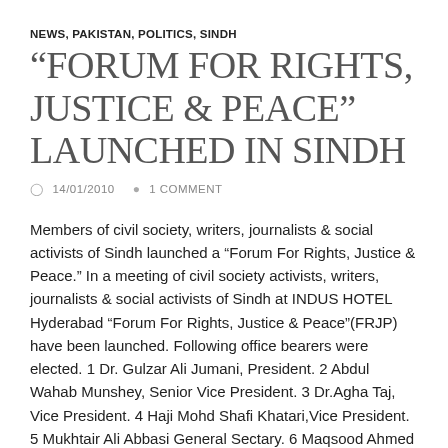NEWS, PAKISTAN, POLITICS, SINDH
“FORUM FOR RIGHTS, JUSTICE & PEACE” LAUNCHED IN SINDH
○ 14/01/2010   • 1 COMMENT
Members of civil society, writers, journalists & social activists of Sindh launched a “Forum For Rights, Justice & Peace.” In a meeting of civil society activists, writers, journalists & social activists of Sindh at INDUS HOTEL Hyderabad “Forum For Rights, Justice & Peace”(FRJP) have been launched. Following office bearers were elected. 1 Dr. Gulzar Ali Jumani, President. 2 Abdul Wahab Munshey, Senior Vice President. 3 Dr.Agha Taj, Vice President. 4 Haji Mohd Shafi Khatari,Vice President. 5 Mukhtair Ali Abbasi General Sectary. 6 Maqsood Ahmed